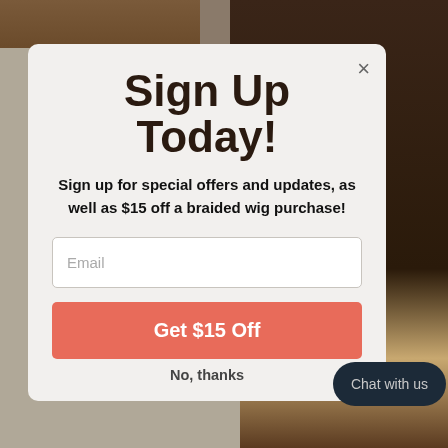[Figure (screenshot): Background showing partial photos of people's hair/heads, dark tones]
Sign Up Today!
Sign up for special offers and updates, as well as $15 off a braided wig purchase!
Email (input field placeholder)
Get $15 Off
No, thanks
Chat with us